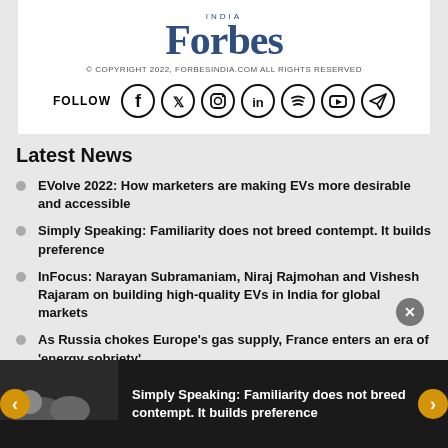Forbes India
© COPYRIGHT 2022, FORBESINDIA.COM ALL RIGHTS RESERVED
FOLLOW [social icons: Facebook, Twitter, Instagram, LinkedIn, Spotify, YouTube, Telegram]
Latest News
EVolve 2022: How marketers are making EVs more desirable and accessible
Simply Speaking: Familiarity does not breed contempt. It builds preference
InFocus: Narayan Subramaniam, Niraj Rajmohan and Vishesh Rajaram on building high-quality EVs in India for global markets
As Russia chokes Europe's gas supply, France enters an era of 'energy sobriety'
Simply Speaking: Familiarity does not breed contempt. It builds preference